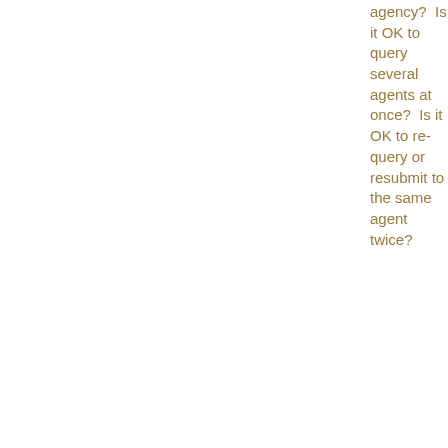agency? Is it OK to query several agents at once? Is it OK to re-query or resubmit to the same agent twice?